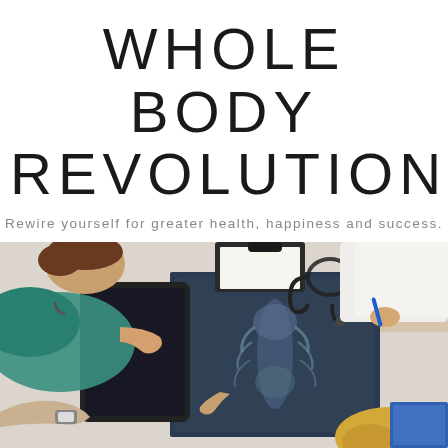WHOLE BODY REVOLUTION
Rewire yourself for greater health, happiness and success.
[Figure (photo): Overhead view of medical professionals looking at an X-ray on a table, with a tablet, stethoscope, clipboard, and pen visible. One person wears teal/green scrubs, another wears a white coat. A patient is partially visible.]